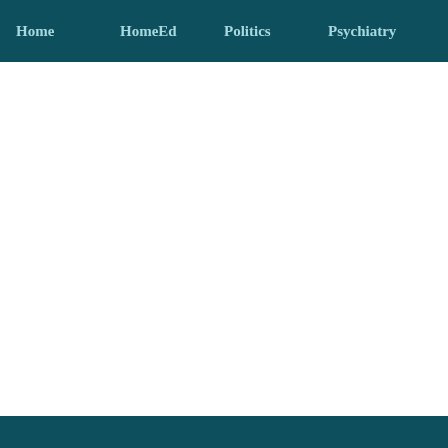Home  HomeEd  Politics  Psychiatry